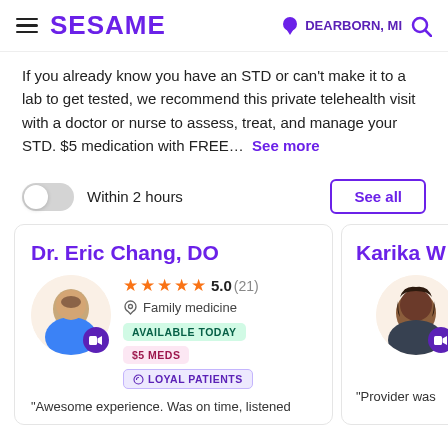SESAME | DEARBORN, MI
If you already know you have an STD or can't make it to a lab to get tested, we recommend this private telehealth visit with a doctor or nurse to assess, treat, and manage your STD. $5 medication with FREE... See more
Within 2 hours
See all
[Figure (screenshot): Doctor card for Dr. Eric Chang, DO with 5.0 rating (21 reviews), Family medicine, Available Today, $5 Meds, Loyal Patients badges, and a review excerpt]
[Figure (screenshot): Partial doctor card for Karika W with photo and video badge visible]